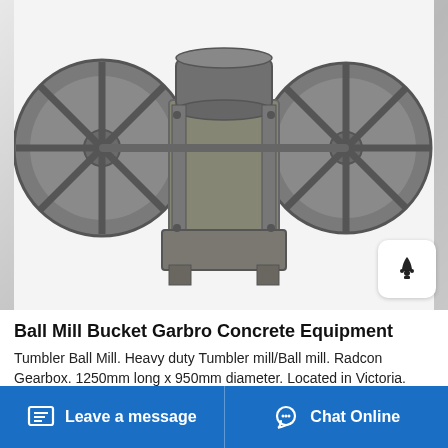[Figure (photo): Ball mill / tumbler machine with two large spoked wheels on either side of a cylindrical drum mounted on a metal frame, photographed against a white background. Metallic gray/olive color.]
Ball Mill Bucket Garbro Concrete Equipment
Tumbler Ball Mill. Heavy duty Tumbler mill/Ball mill. Radcon Gearbox. 1250mm long x 950mm diameter. Located in Victoria. Contact us for More Details. Compare. Chemical Mill all...
Leave a message   Chat Online